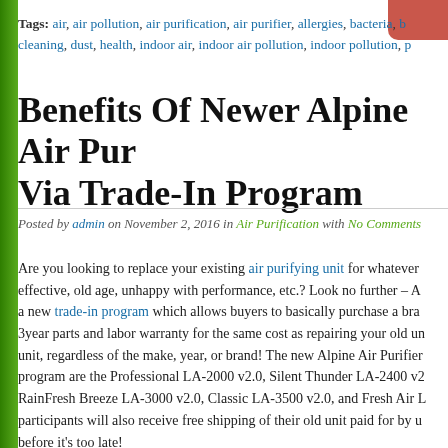Tags: air, air pollution, air purification, air purifier, allergies, bacteria, b... cleaning, dust, health, indoor air, indoor air pollution, indoor pollution, p...
Benefits Of Newer Alpine Air Pur... Via Trade-In Program
Posted by admin on November 2, 2016 in Air Purification with No Comments
Are you looking to replace your existing air purifying unit for whatever... effective, old age, unhappy with performance, etc.? Look no further – A... a new trade-in program which allows buyers to basically purchase a bra... 3year parts and labor warranty for the same cost as repairing your old un... unit, regardless of the make, year, or brand! The new Alpine Air Purifier... program are the Professional LA-2000 v2.0, Silent Thunder LA-2400 v2... RainFresh Breeze LA-3000 v2.0, Classic LA-3500 v2.0, and Fresh Air L... participants will also receive free shipping of their old unit paid for by u... before it's too late!